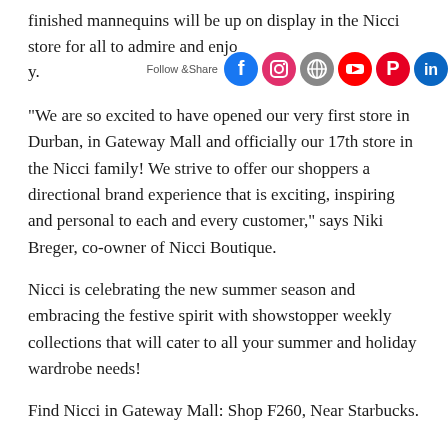finished mannequins will be up on display in the Nicci store for all to admire and enjoy.
[Figure (other): Social media follow bar with icons for Facebook, Instagram, WordPress, YouTube, Pinterest, and LinkedIn, with 'Follow Share' label]
“We are so excited to have opened our very first store in Durban, in Gateway Mall and officially our 17th store in the Nicci family! We strive to offer our shoppers a directional brand experience that is exciting, inspiring and personal to each and every customer,” says Niki Breger, co-owner of Nicci Boutique.
Nicci is celebrating the new summer season and embracing the festive spirit with showstopper weekly collections that will cater to all your summer and holiday wardrobe needs!
Find Nicci in Gateway Mall: Shop F260, Near Starbucks.